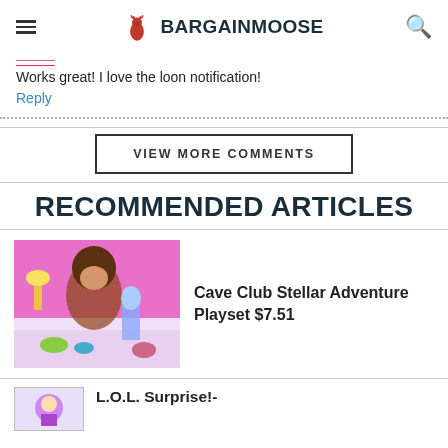BARGAINMOOSE
Works great! I love the loon notification!
Reply
VIEW MORE COMMENTS
RECOMMENDED ARTICLES
[Figure (photo): Girl with Cave Club Stellar Adventure Playset toy]
Cave Club Stellar Adventure Playset $7.51
L.O.L. Surprise!-